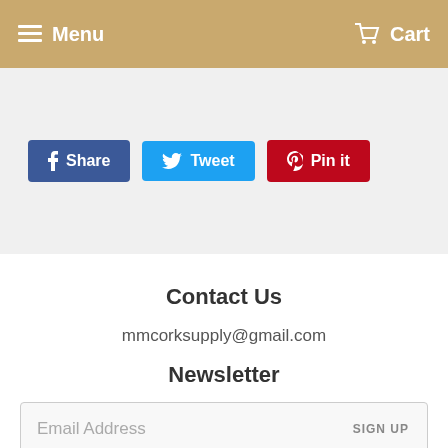Menu  Cart
[Figure (other): Social share buttons: Facebook Share, Twitter Tweet, Pinterest Pin it]
Contact Us
mmcorksupply@gmail.com
Newsletter
Email Address  SIGN UP